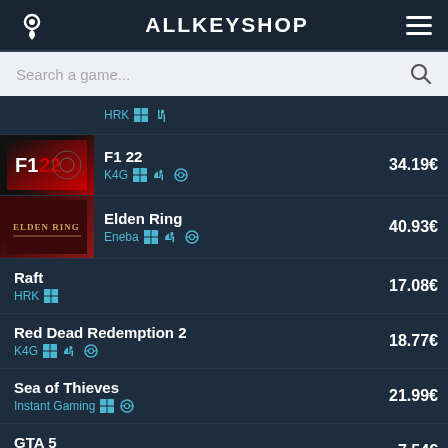ALLKEYSHOP
Search a game...
HRK | Windows | PlayStation
F1 22 | K4G | Windows | PlayStation | Xbox | 34.19€
Elden Ring | Eneba | Windows | PlayStation | Xbox | 40.93€
Raft | HRK | Windows | 17.08€
Red Dead Redemption 2 | K4G | Windows | PlayStation | Xbox | 18.77€
Sea of Thieves | Instant Gaming | Windows | Xbox | 21.99€
GTA 5 | K4G | Windows | PlayStation | Xbox | 7.54€
Ready Or Not | Kinguin | Windows | ...€
Escape from Tarkov